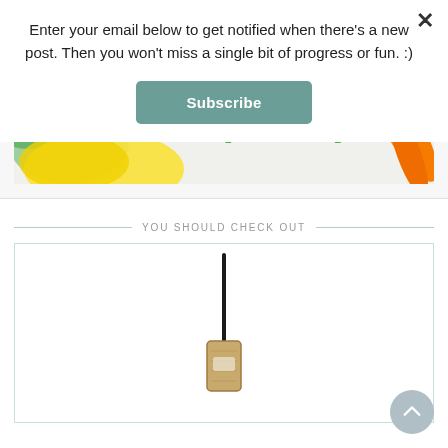Enter your email below to get notified when there's a new post. Then you won't miss a single bit of progress or fun. :)
Subscribe
[Figure (photo): Grocery store advertisement banner showing fresh produce (orange, carrots, yellow pepper, spinach) with text 'Order online. Free pickup.' in green]
YOU SHOULD CHECK OUT
[Figure (photo): Product image showing what appears to be a small wooden device with a black antenna/probe on a white background]